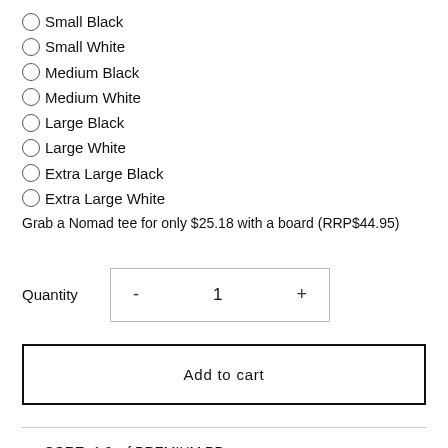Small Black
Small White
Medium Black
Medium White
Large Black
Large White
Extra Large Black
Extra Large White
Grab a Nomad tee for only $25.18 with a board (RRP$44.95)
Quantity  -  1  +
Add to cart
CORE: 1.9pcf PREMIUM PP
DECK: Cellu-Cushion® 8lb PE